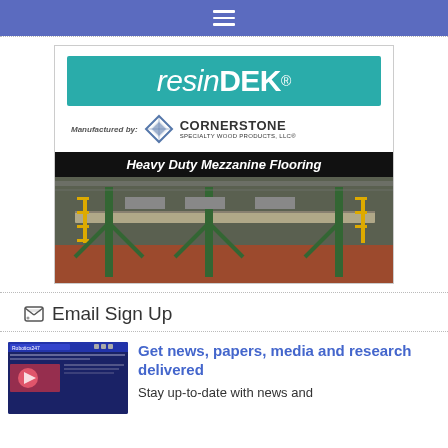Navigation bar with hamburger menu
[Figure (logo): ResinDEK advertisement - Heavy Duty Mezzanine Flooring by Cornerstone Specialty Wood Products LLC, with warehouse mezzanine photo]
Email Sign Up
[Figure (screenshot): Robotics247 website thumbnail screenshot]
Get news, papers, media and research delivered
Stay up-to-date with news and